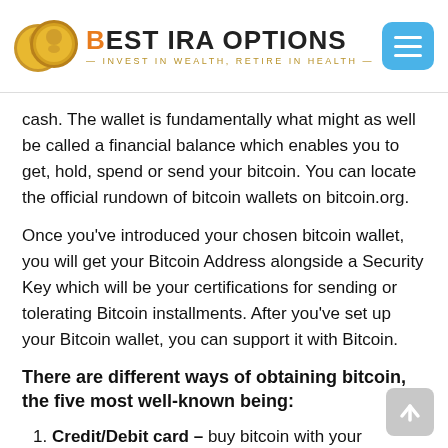BEST IRA OPTIONS — INVEST IN WEALTH, RETIRE IN HEALTH
cash. The wallet is fundamentally what might as well be called a financial balance which enables you to get, hold, spend or send your bitcoin. You can locate the official rundown of bitcoin wallets on bitcoin.org.
Once you've introduced your chosen bitcoin wallet, you will get your Bitcoin Address alongside a Security Key which will be your certifications for sending or tolerating Bitcoin installments. After you've set up your Bitcoin wallet, you can support it with Bitcoin.
There are different ways of obtaining bitcoin, the five most well-known being:
Credit/Debit card – buy bitcoin with your credit/platinum card and you'll get them